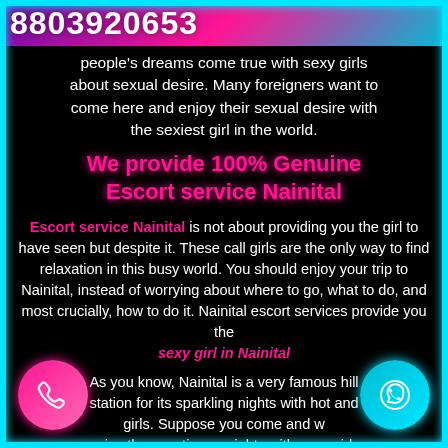8803920653
people's dreams come true with sexy girls about sexual desire. Many foreigners want to come here and enjoy their sexual desire with the sexiest girl in the world.
We provide 100% Genuine Escort service Nainital
Escort service Nainital is not about providing you the girl to have seen but despite it. These call girls are the only way to find relaxation in this busy world. You should enjoy your trip to Nainital, instead of worrying about where to go, what to do, and most crucially, how to do it. Nainital escort services provide you the sexy girl in Nainital
As you know, Nainital is a very famous hill station for its sparkling nights with hot and girls. Suppose you come and w enjoy the vacation or nights with sexy girls